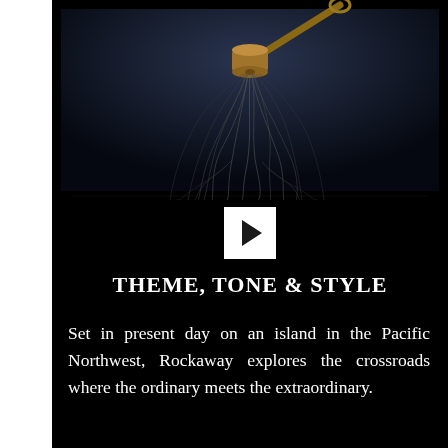[Figure (photo): Dark atmospheric photo of a wooden instrument or mallet with long thin wire-like strands or fibers hanging down from it, against a very dark navy/black background]
[Figure (other): White play button (right-pointing triangle) on a white square background, centered on black background]
THEME, TONE & STYLE
Set in present day on an island in the Pacific Northwest, Rockaway explores the crossroads where the ordinary meets the extraordinary.